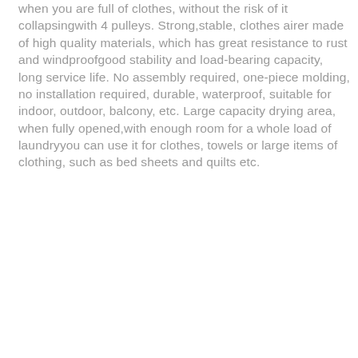when you are full of clothes, without the risk of it collapsingwith 4 pulleys. Strong,stable, clothes airer made of high quality materials, which has great resistance to rust and windproofgood stability and load-bearing capacity, long service life. No assembly required, one-piece molding, no installation required, durable, waterproof, suitable for indoor, outdoor, balcony, etc. Large capacity drying area, when fully opened,with enough room for a whole load of laundryyou can use it for clothes, towels or large items of clothing, such as bed sheets and quilts etc.